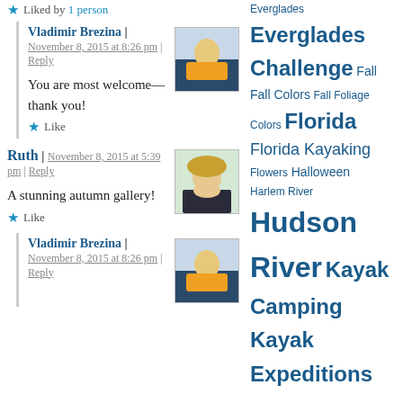Liked by 1 person
Vladimir Brezina | November 8, 2015 at 8:26 pm | Reply
You are most welcome—thank you!
Like
Ruth | November 8, 2015 at 5:39 pm | Reply
A stunning autumn gallery!
Like
Vladimir Brezina | November 8, 2015 at 8:26 pm | Reply
Tag cloud: Everglades, Everglades Challenge, Fall, Fall Colors, Fall Foliage Colors, Florida, Florida Kayaking, Flowers, Halloween, Harlem River, Hudson River, Kayak Camping, Kayak Expeditions, Kayaking, Kayak Photography, Kayak Race, Kayak Sailing, Long-Distance Swim, Long Island, Long Island Kayak Circumnavigation 2012, Long Island Sound, Manhattan, Manhattan Circumnavigation, Manhattanhenge, Mermaid